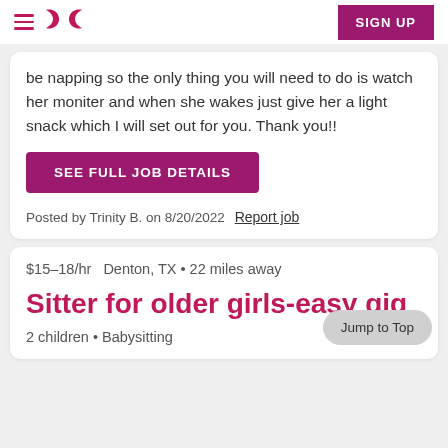≡ ∞ SIGN UP
be napping so the only thing you will need to do is watch her moniter and when she wakes just give her a light snack which I will set out for you. Thank you!!
SEE FULL JOB DETAILS
Posted by Trinity B. on 8/20/2022  Report job
$15–18/hr   Denton, TX • 22 miles away
Sitter for older girls-easy gig
2 children • Babysitting
Jump to Top